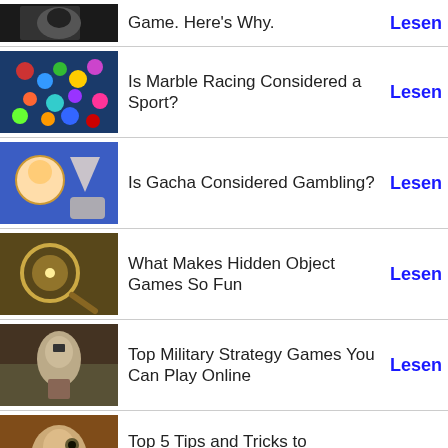Game. Here's Why. — Lesen
Is Marble Racing Considered a Sport? — Lesen
Is Gacha Considered Gambling? — Lesen
What Makes Hidden Object Games So Fun — Lesen
Top Military Strategy Games You Can Play Online — Lesen
Top 5 Tips and Tricks to Dominate Opponents in Apex Legends — Lesen
The Ultimate Guide To Mega Reel Sites — Lesen
4 Ways to Find the Right Online Bingo Games for Real Money — Lesen